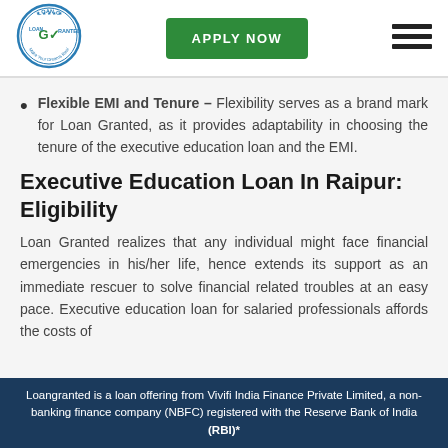[Figure (logo): Loan Granted circular logo with text and checkmark]
[Figure (other): Green APPLY NOW button]
[Figure (other): Hamburger menu icon (three horizontal bars)]
Flexible EMI and Tenure – Flexibility serves as a brand mark for Loan Granted, as it provides adaptability in choosing the tenure of the executive education loan and the EMI.
Executive Education Loan In Raipur: Eligibility
Loan Granted realizes that any individual might face financial emergencies in his/her life, hence extends its support as an immediate rescuer to solve financial related troubles at an easy pace. Executive education loan for salaried professionals affords the costs of
Loangranted is a loan offering from Vivifi India Finance Private Limited, a non-banking finance company (NBFC) registered with the Reserve Bank of India (RBI)*